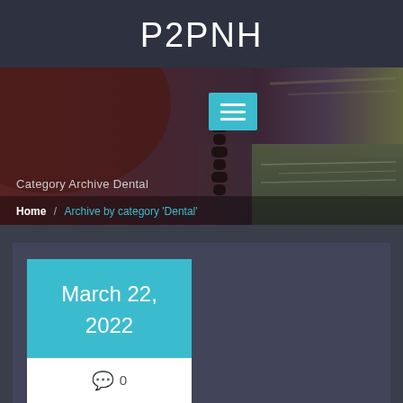P2PNH
[Figure (photo): Hero banner image showing a ship chain/anchor and a beach coastline with dark moody sky, overlaid with a teal hamburger menu button and breadcrumb navigation. Text 'Category Archive Dental' shown over the image.]
Category Archive Dental
Home / Archive by category 'Dental'
March 22, 2022
0